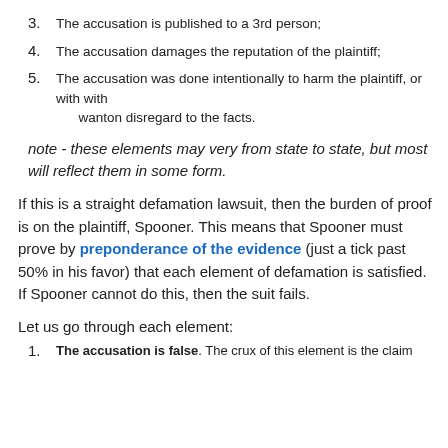3. The accusation is published to a 3rd person;
4. The accusation damages the reputation of the plaintiff;
5. The accusation was done intentionally to harm the plaintiff, or with with wanton disregard to the facts.
note - these elements may very from state to state, but most will reflect them in some form.
If this is a straight defamation lawsuit, then the burden of proof is on the plaintiff, Spooner. This means that Spooner must prove by preponderance of the evidence (just a tick past 50% in his favor) that each element of defamation is satisfied. If Spooner cannot do this, then the suit fails.
Let us go through each element:
1. The accusation is false. The crux of this element is the claim